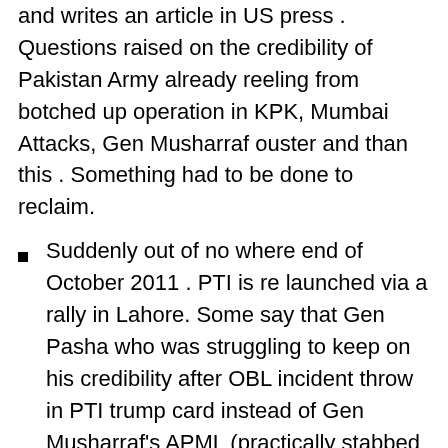and writes an article in US press. Questions raised on the credibility of Pakistan Army already reeling from botched up operation in KPK, Mumbai Attacks, Gen Musharraf ouster and than this . Something had to be done to reclaim.
Suddenly out of no where end of October 2011 . PTI is re launched via a rally in Lahore. Some say that Gen Pasha who was struggling to keep on his credibility after OBL incident throw in PTI trump card instead of Gen Musharraf's APML (practically stabbed Gen Musharraf in the back) to some how get his extension. But not extended in March 2012 barely a year before next elections as the political leadership senses the brewing game played by then then ISI chief.
Using the chaos in Karachi PTI was thrusted in as the next option. Proof of which is that all the touts